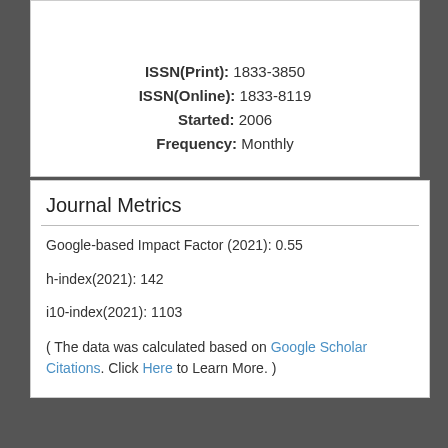ISSN(Print): 1833-3850
ISSN(Online): 1833-8119
Started: 2006
Frequency: Monthly
Journal Metrics
Google-based Impact Factor (2021): 0.55
h-index(2021): 142
i10-index(2021): 1103
( The data was calculated based on Google Scholar Citations. Click Here to Learn More. )